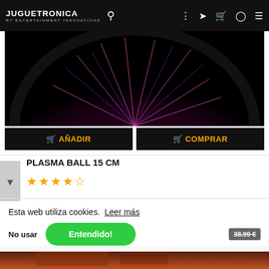JUGUETRONICA BY ENTERTAINMENT INNOVATIONS
[Figure (photo): Plasma ball glowing pink/purple on black background, bottom half visible]
🛒 AÑADIR   🛒 COMPRAR
PLASMA BALL 15 CM
[Figure (other): 4.5 star rating in orange stars]
Esta web utiliza cookies.  Leer más
No usar    Entendido!
38.99 €
[Figure (photo): Bottom strip showing partial product image with warm brown/red tones]